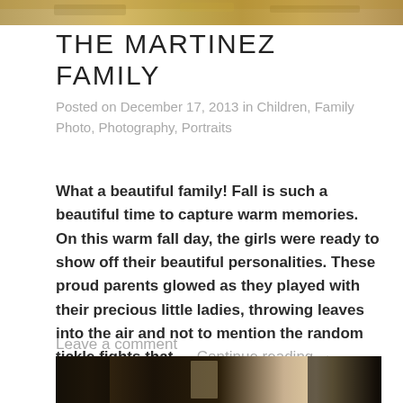[Figure (photo): Top strip of a fall outdoor family photo with warm autumn tones]
THE MARTINEZ FAMILY
Posted on December 17, 2013 in Children, Family Photo, Photography, Portraits
What a beautiful family! Fall is such a beautiful time to capture warm memories. On this warm fall day, the girls were ready to show off their beautiful personalities. These proud parents glowed as they played with their precious little ladies, throwing leaves into the air and not to mention the random tickle fights that … Continue reading →
Leave a comment
[Figure (photo): Bottom strip of a dark indoor photo, partially visible at page bottom]